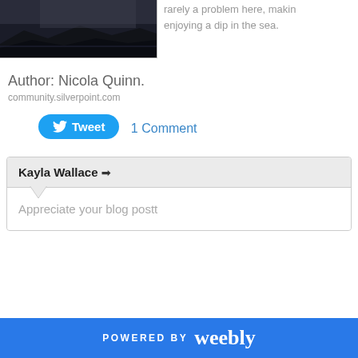[Figure (photo): Partial view of a dark rocky landscape photo, cropped at top]
rarely a problem here, making enjoying a dip in the sea.
Author: Nicola Quinn.
community.silverpoint.com
Tweet
1 Comment
Kayla Wallace →
Appreciate your blog postt
POWERED BY weebly